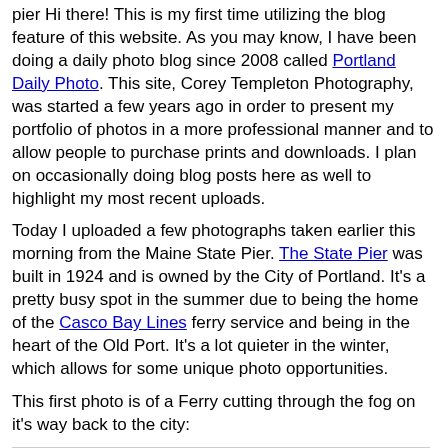pier Hi there! This is my first time utilizing the blog feature of this website. As you may know, I have been doing a daily photo blog since 2008 called Portland Daily Photo. This site, Corey Templeton Photography, was started a few years ago in order to present my portfolio of photos in a more professional manner and to allow people to purchase prints and downloads. I plan on occasionally doing blog posts here as well to highlight my most recent uploads.
Today I uploaded a few photographs taken earlier this morning from the Maine State Pier. The State Pier was built in 1924 and is owned by the City of Portland. It's a pretty busy spot in the summer due to being the home of the Casco Bay Lines ferry service and being in the heart of the Old Port. It's a lot quieter in the winter, which allows for some unique photo opportunities.
This first photo is of a Ferry cutting through the fog on it's way back to the city:
[Figure (photo): A placeholder/cropped photo area showing a ferry in fog, light blue-grey background visible.]